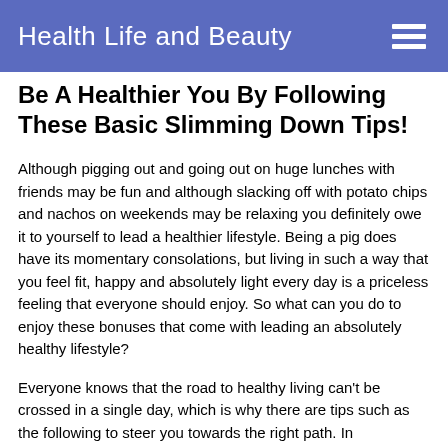Health Life and Beauty
Be A Healthier You By Following These Basic Slimming Down Tips!
Although pigging out and going out on huge lunches with friends may be fun and although slacking off with potato chips and nachos on weekends may be relaxing you definitely owe it to yourself to lead a healthier lifestyle. Being a pig does have its momentary consolations, but living in such a way that you feel fit, happy and absolutely light every day is a priceless feeling that everyone should enjoy. So what can you do to enjoy these bonuses that come with leading an absolutely healthy lifestyle?
Everyone knows that the road to healthy living can't be crossed in a single day, which is why there are tips such as the following to steer you towards the right path. In themselves they may not make the complete difference but taken together they can for the foundation of your new healthy outlook on life that will lead you to shed those unhealthy pounds and be the envy of all your friends mired in the calorie trap. If you want to live better, you should…